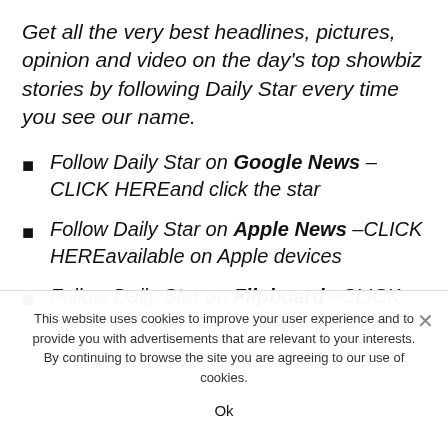Get all the very best headlines, pictures, opinion and video on the day's top showbiz stories by following Daily Star every time you see our name.
Follow Daily Star on Google News –CLICK HEREand click the star
Follow Daily Star on Apple News –CLICK HEREavailable on Apple devices
Follow Daily Star on Flipboard –CLICK
This website uses cookies to improve your user experience and to provide you with advertisements that are relevant to your interests. By continuing to browse the site you are agreeing to our use of cookies.
Ok